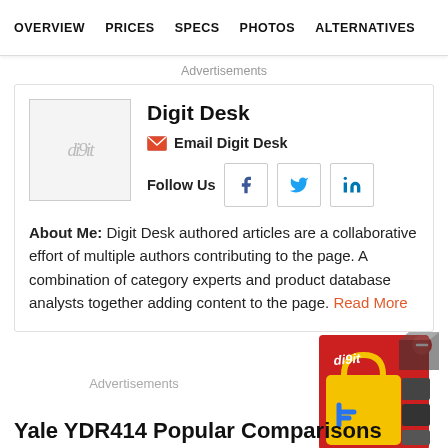OVERVIEW  PRICES  SPECS  PHOTOS  ALTERNATIVES
Advertisements
Digit Desk
Email Digit Desk
Follow Us
About Me: Digit Desk authored articles are a collaborative effort of multiple authors contributing to the page. A combination of category experts and product database analysts together adding content to the page. Read More
Advertisements
[Figure (illustration): Flipkart/Digit branded shopping box advertisement with yellow and red colors]
Yale YDR414 Popular Comparisons